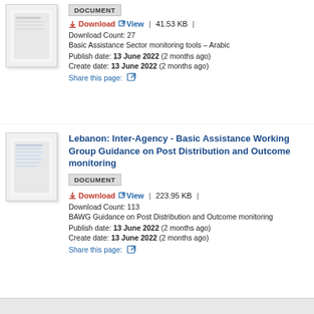[Figure (other): Thumbnail image of a document page (partially visible at top)]
DOCUMENT
Download  View  |  41.53 KB  |
Download Count: 27
Basic Assistance Sector monitoring tools – Arabic
Publish date: 13 June 2022 (2 months ago)
Create date: 13 June 2022 (2 months ago)
Share this page:
[Figure (other): Thumbnail of Lebanon Inter-Agency Basic Assistance Working Group document]
Lebanon: Inter-Agency - Basic Assistance Working Group Guidance on Post Distribution and Outcome monitoring
DOCUMENT
Download  View  |  223.95 KB  |
Download Count: 113
BAWG Guidance on Post Distribution and Outcome monitoring
Publish date: 13 June 2022 (2 months ago)
Create date: 13 June 2022 (2 months ago)
Share this page:
© View all (470)